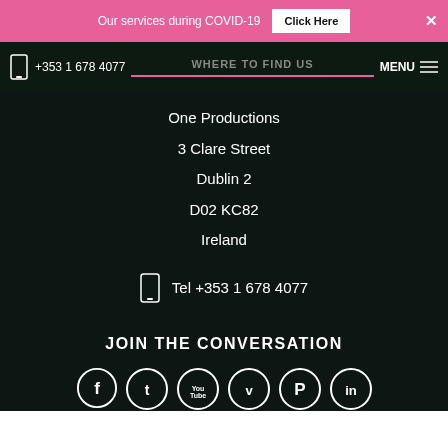Our services during COVID-19  Click Here  ×
+353 1 678 4077  WHERE TO FIND US  MENU
One Productions
3 Clare Street
Dublin 2
D02 KC82
Ireland
Tel +353 1 678 4077
JOIN THE CONVERSATION
[Figure (other): Social media icons: Facebook, Twitter, YouTube, Vimeo, Pinterest, LinkedIn]